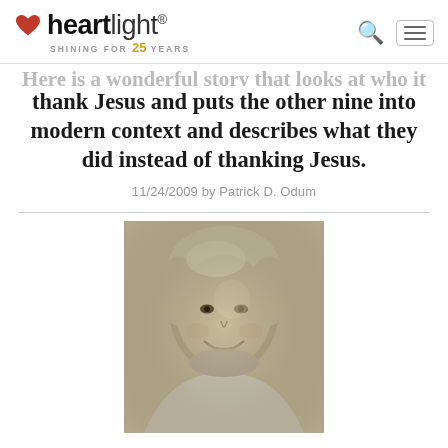heartlight® SHINING FOR 25 YEARS
thank Jesus and puts the other nine into modern context and describes what they did instead of thanking Jesus.
11/24/2009 by Patrick D. Odum
[Figure (photo): Sepia-toned portrait photo of a smiling middle-aged woman with light curly hair, looking directly at camera]